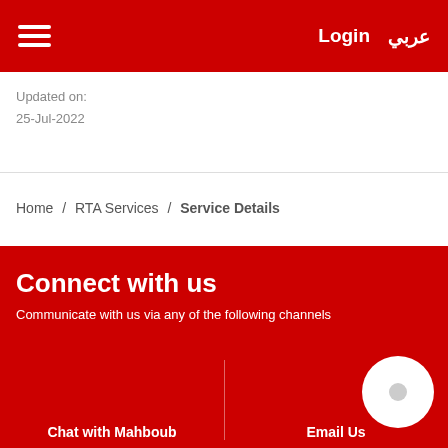☰  Login  عربي
Updated on:
25-Jul-2022
Home / RTA Services / Service Details
Connect with us
Communicate with us via any of the following channels
Chat with Mahboub
Email Us